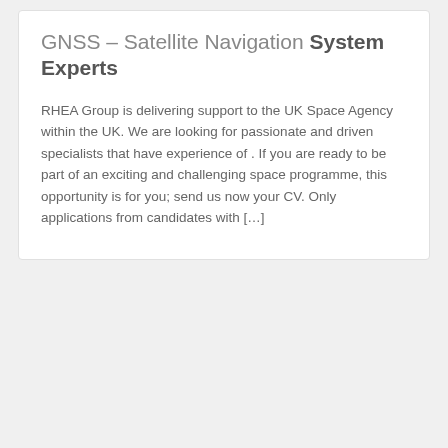GNSS – Satellite Navigation System Experts
RHEA Group is delivering support to the UK Space Agency within the UK. We are looking for passionate and driven specialists that have experience of .  If you are ready to be part of an exciting and challenging space programme, this opportunity is for you; send us now your CV. Only applications from candidates with […]